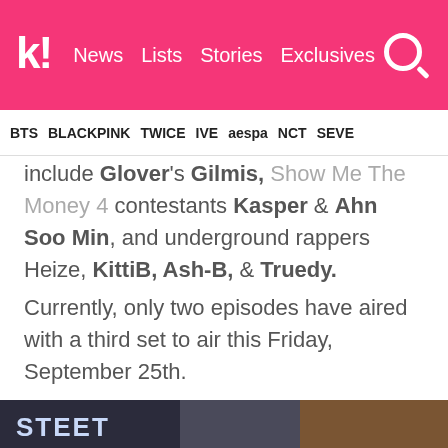k! News  Lists  Stories  Exclusives
BTS  BLACKPINK  TWICE  IVE  aespa  NCT  SEVE
include Glover's Gilmis, Show Me The Money 4 contestants Kasper & Ahn Soo Min, and underground rappers Heize, KittiB, Ash-B, & Truedy.
Currently, only two episodes have aired with a third set to air this Friday, September 25th.
In a recently published post titled " Unpretty Rapstars 3 most likable contestants" on online community board Instiz, a netizen shared the Top 3 contestants who they believe are the favorite thus far.
[Figure (photo): Bottom strip showing partial image with street graffiti text]